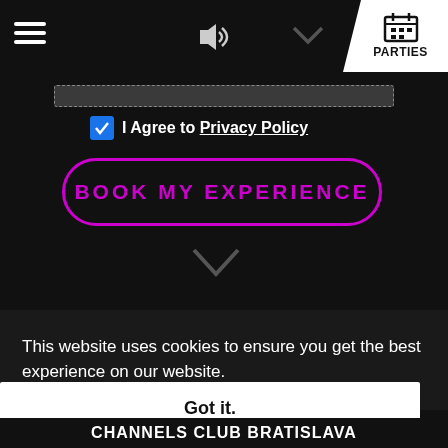☰  🔊  ∨  📅 PARTIES
[Figure (screenshot): A dark input field bar with dashed border]
I Agree to Privacy Policy
BOOK MY EXPERIENCE
[Figure (other): Chevron down arrow icon in dark gray]
This website uses cookies to ensure you get the best experience on our website.
Got it.
CHANNELS CLUB BRATISLAVA